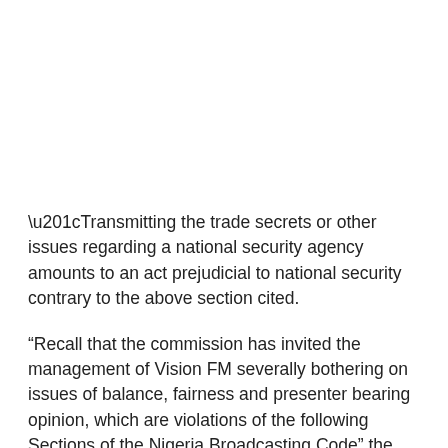“Transmitting the trade secrets or other issues regarding a national security agency amounts to an act prejudicial to national security contrary to the above section cited.
“Recall that the commission has invited the management of Vision FM severally bothering on issues of balance, fairness and presenter bearing opinion, which are violations of the following Sections of the Nigeria Broadcasting Code” the letter read.
When contacted, the Managing Director, Vision Media